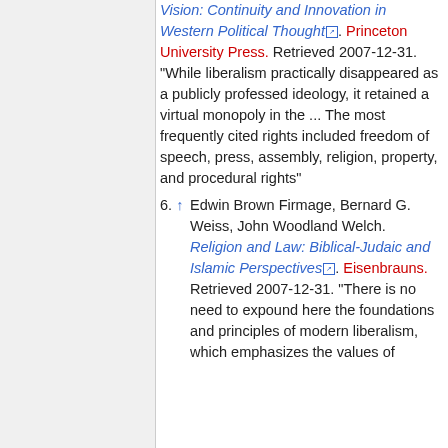Vision: Continuity and Innovation in Western Political Thought. Princeton University Press. Retrieved 2007-12-31. "While liberalism practically disappeared as a publicly professed ideology, it retained a virtual monopoly in the ... The most frequently cited rights included freedom of speech, press, assembly, religion, property, and procedural rights"
6. ↑ Edwin Brown Firmage, Bernard G. Weiss, John Woodland Welch. Religion and Law: Biblical-Judaic and Islamic Perspectives. Eisenbrauns. Retrieved 2007-12-31. "There is no need to expound here the foundations and principles of modern liberalism, which emphasizes the values of